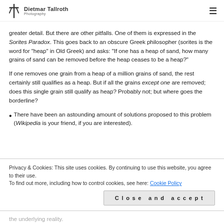Dietmar Tallroth Photography
greater detail. But there are other pitfalls. One of them is expressed in the Sorites Paradox. This goes back to an obscure Greek philosopher (sorites is the word for "heap" in Old Greek) and asks: "If one has a heap of sand, how many grains of sand can be removed before the heap ceases to be a heap?"
If one removes one grain from a heap of a million grains of sand, the rest certainly still qualifies as a heap. But if all the grains except one are removed; does this single grain still qualify as heap? Probably not; but where goes the borderline?
There have been an astounding amount of solutions proposed to this problem (Wikipedia is your friend, if you are interested).
Privacy & Cookies: This site uses cookies. By continuing to use this website, you agree to their use.
To find out more, including how to control cookies, see here: Cookie Policy
the underlying reality.